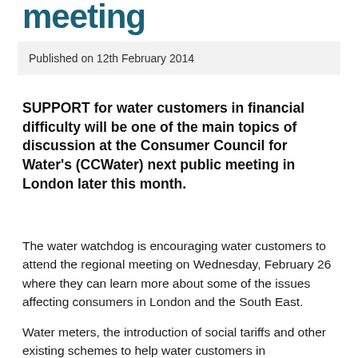meeting
Published on 12th February 2014
SUPPORT for water customers in financial difficulty will be one of the main topics of discussion at the Consumer Council for Water's (CCWater) next public meeting in London later this month.
The water watchdog is encouraging water customers to attend the regional meeting on Wednesday, February 26 where they can learn more about some of the issues affecting consumers in London and the South East.
Water meters, the introduction of social tariffs and other existing schemes to help water customers in